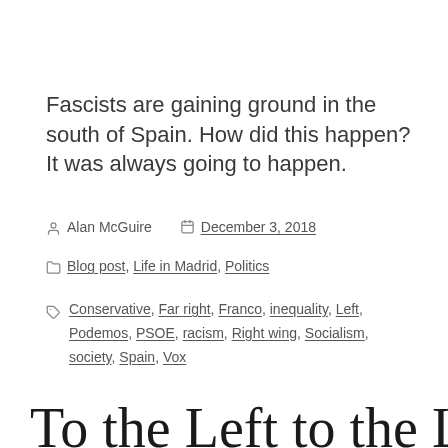Fascists are gaining ground in the south of Spain. How did this happen? It was always going to happen.
Alan McGuire   December 3, 2018
Blog post, Life in Madrid, Politics
Conservative, Far right, Franco, inequality, Left, Podemos, PSOE, racism, Right wing, Socialism, society, Spain, Vox
To the Left to the Left